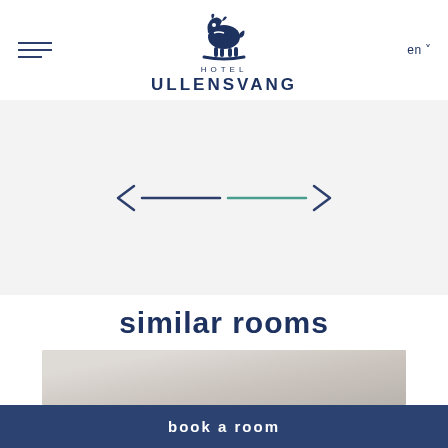Hotel Ullensvang
[Figure (other): Navigation arrows with slider indicators — left arrow, dark blue line, teal/green line, right arrow]
similar rooms
[Figure (photo): Hotel room interior photo showing ceiling and wall detail]
book a room